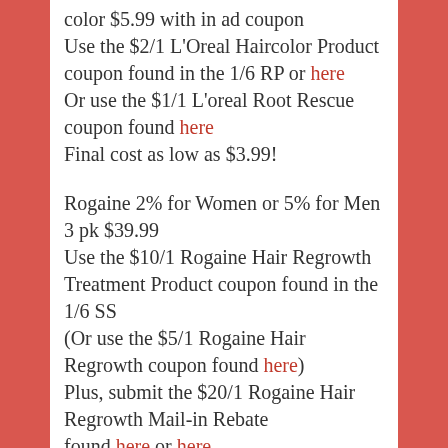color $5.99 with in ad coupon
Use the $2/1 L'Oreal Haircolor Product coupon found in the 1/6 RP or here
Or use the $1/1 L'oreal Root Rescue coupon found here
Final cost as low as $3.99!
Rogaine 2% for Women or 5% for Men 3 pk $39.99
Use the $10/1 Rogaine Hair Regrowth Treatment Product coupon found in the 1/6 SS
(Or use the $5/1 Rogaine Hair Regrowth coupon found here)
Plus, submit the $20/1 Rogaine Hair Regrowth Mail-in Rebate found here or here
Final cost as low as $9.99!
Conair Ionic Turbo styler 1875 watts, Ceramic straightener 0.75 in. or Instant Heat curling iron 0.75-1.25 oz in. $14.99
Buy 1 get 1,000 Balance Rewards Points...